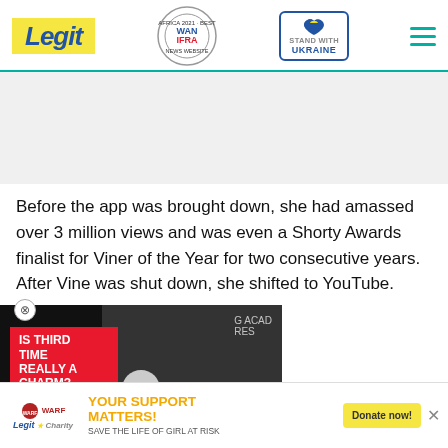Legit | WAN-IFRA 2021 Best News Website in Africa | Stand with Ukraine
[Figure (screenshot): Ad space placeholder area (gray background)]
Before the app was brought down, she had amassed over 3 million views and was even a Shorty Awards finalist for Viner of the Year for two consecutive years. After Vine was shut down, she shifted to YouTube.
[Figure (screenshot): Video overlay showing two people at a Grammy Academy event. Red label reads IS THIRD TIME REALLY A CHARM? with a play button. Chevron button at bottom.]
...ober 30th 2013, and has over ..., she has over 60k subscribers ...ws.
[Figure (infographic): Bottom advertisement banner: WARF logo, Legit Charity logo, YOUR SUPPORT MATTERS! SAVE THE LIFE OF GIRL AT RISK, Donate now! button, close X button]